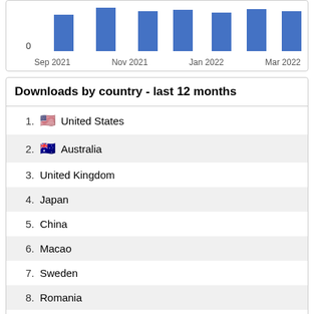[Figure (bar-chart): Partial bar chart visible at top of page showing monthly download bars]
Downloads by country - last 12 months
1. United States
2. Australia
3. United Kingdom
4. Japan
5. China
6. Macao
7. Sweden
8. Romania
9. Canada
10. Morocco
Archive Staff Only